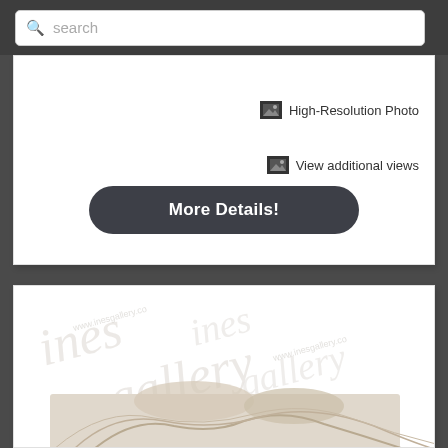search
High-Resolution Photo
View additional views
More Details!
[Figure (photo): Product listing card with watermarked image area showing a decorative sculptural relief with flowing hair figures, watermark text reads 'ines gallery' and 'www.inesgallery.co']